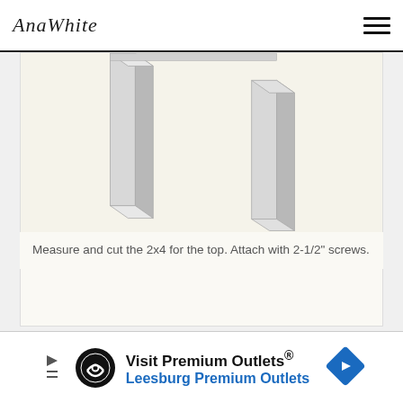AnaWhite
[Figure (illustration): Two wooden table legs (2x4 lumber) shown from below, one on the left partially visible and one on the right, with a top board being attached. Sketch-style illustration on cream background.]
Measure and cut the 2x4 for the top.  Attach with 2-1/2" screws.
[Figure (infographic): Advertisement banner: Visit Premium Outlets® / Leesburg Premium Outlets with logo icons.]